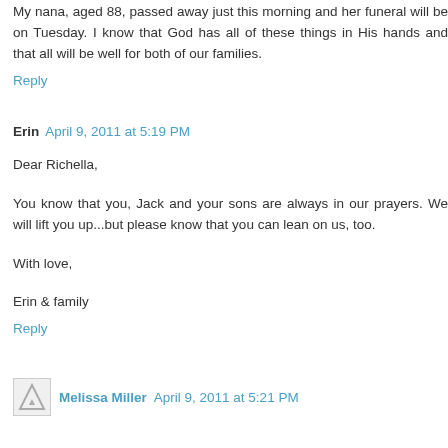My nana, aged 88, passed away just this morning and her funeral will be on Tuesday. I know that God has all of these things in His hands and that all will be well for both of our families.
Reply
Erin  April 9, 2011 at 5:19 PM
Dear Richella,
You know that you, Jack and your sons are always in our prayers. We will lift you up...but please know that you can lean on us, too.
With love,
Erin & family
Reply
Melissa Miller  April 9, 2011 at 5:21 PM